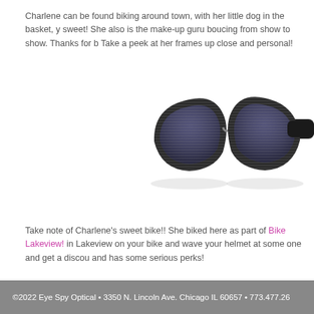Charlene can be found biking around town, with her little dog in the basket, y sweet! She also is the make-up guru boucing from show to show. Thanks for b Take a peek at her frames up close and personal!
[Figure (photo): Close-up photo of bold black cat-eye sunglasses with horizontal stripe texture on thick frames, dark gradient lenses, on white background.]
Take note of Charlene's sweet bike!! She biked here as part of Bike Lakeview! in Lakeview on your bike and wave your helmet at some one and get a discou and has some serious perks!
©2022 Eye Spy Optical • 3350 N. Lincoln Ave. Chicago IL 60657 • 773.477.26